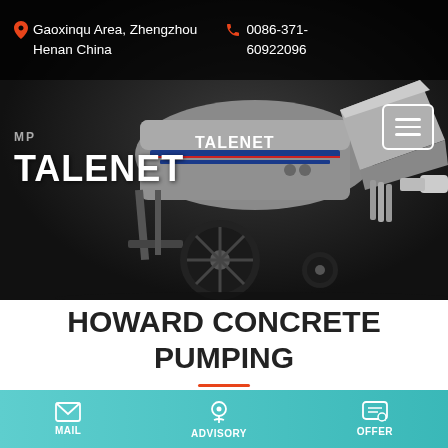[Figure (photo): Talenet concrete pump machine on dark background — a gray trailer-mounted concrete pump with black wheels, hopper, and blue/red stripe branding reading TALENET]
Gaoxinqu Area, Zhengzhou Henan China   0086-371-60922096
TALENET
HOWARD CONCRETE PUMPING
MAIL   ADVISORY   OFFER